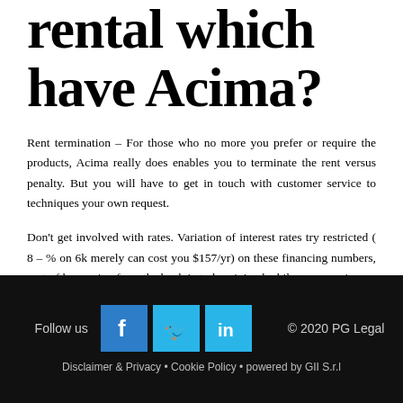rental which have Acima?
Rent termination – For those who no more you prefer or require the products, Acima really does enables you to terminate the rent versus penalty. But you will have to get in touch with customer service to techniques your own request.
Don't get involved with rates. Variation of interest rates try restricted ( 8 – % on 6k merely can cost you $157/yr) on these financing numbers, cost of borrowing from the bank is truly minimal whilst means price.
Follow us  © 2020 PG Legal  Disclaimer & Privacy • Cookie Policy • powered by GII S.r.l